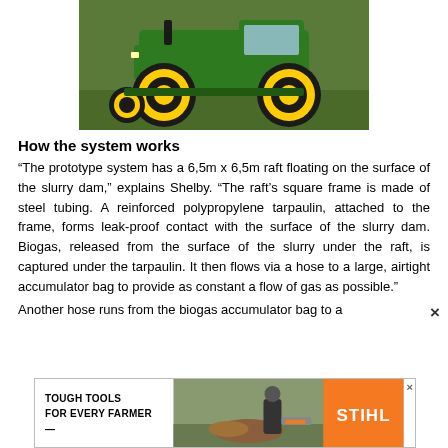[Figure (photo): Green John Deere tractor with yellow wheels in a field]
How the system works
“The prototype system has a 6,5m x 6,5m raft floating on the surface of the slurry dam,” explains Shelby. “The raft’s square frame is made of steel tubing. A reinforced polypropylene tarpaulin, attached to the frame, forms leak-proof contact with the surface of the slurry dam. Biogas, released from the surface of the slurry under the raft, is captured under the tarpaulin. It then flows via a hose to a large, airtight accumulator bag to provide as constant a flow of gas as possible.”
Another hose runs from the biogas accumulator bag to a
[Figure (photo): STIHL advertisement: Tough Tools for Every Farmer, showing a person cutting wood with a chainsaw]